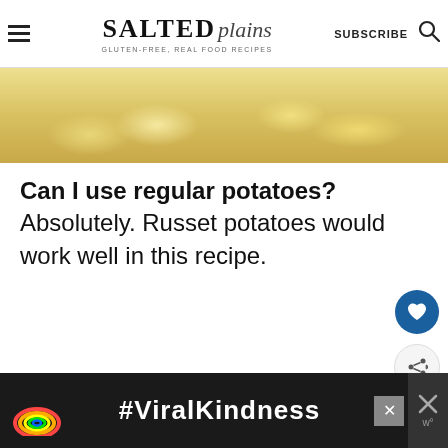SALTED plains — GLUTEN-FREE, REAL FOOD RECIPES | SUBSCRIBE
[Figure (photo): Close-up photo of creamy mashed potatoes on a plate, warm yellow tones]
Can I use regular potatoes? Absolutely. Russet potatoes would work well in this recipe.
[Figure (photo): WHAT'S NEXT → Cardamom Simple Syrup promotional thumbnail showing a glass with amber liquid]
[Figure (infographic): Advertisement banner with #ViralKindness text and rainbow illustration on dark background]